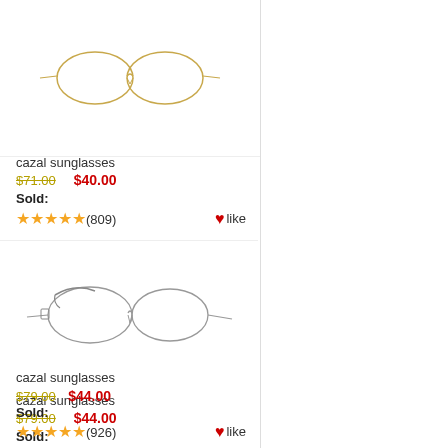[Figure (illustration): Cazal sunglasses product image - thin wire frame oval eyeglasses, gold/beige color, top of image]
cazal sunglasses
$71.00  $40.00
Sold:
★★★★★ (809)  ♥like
[Figure (illustration): Cazal sunglasses product image - thin wire frame oval eyeglasses with decorative bridge, side profile view, gold/silver color]
cazal sunglasses
$79.00  $44.00
Sold:
★★★★★ (926)  ♥like
[Figure (illustration): Cazal sunglasses product image - dark/black frame rectangular sunglasses, partial view at bottom of page]